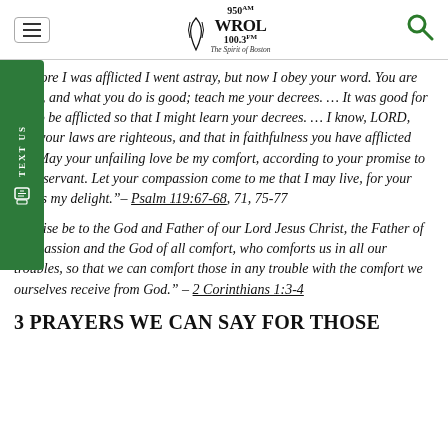950 AM WROL 100.3 FM – The Spirit of Boston
“Before I was afflicted I went astray, but now I obey your word. You are good, and what you do is good; teach me your decrees. … It was good for me to be afflicted so that I might learn your decrees. … I know, LORD, that your laws are righteous, and that in faithfulness you have afflicted me. May your unfailing love be my comfort, according to your promise to your servant. Let your compassion come to me that I may live, for your law is my delight.”– Psalm 119:67-68, 71, 75-77
“Praise be to the God and Father of our Lord Jesus Christ, the Father of compassion and the God of all comfort, who comforts us in all our troubles, so that we can comfort those in any trouble with the comfort we ourselves receive from God.” – 2 Corinthians 1:3-4
3 PRAYERS WE CAN SAY FOR THOSE